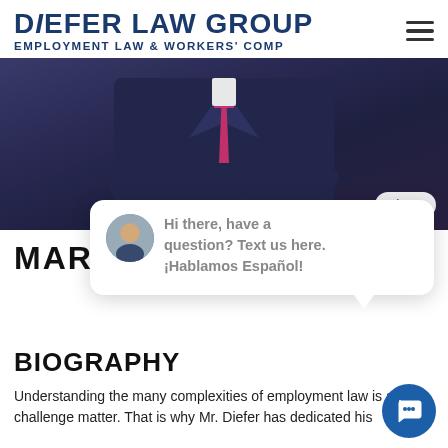DiEFER LAW GROUP
EMPLOYMENT LAW & WORKERS' COMP
[Figure (photo): Close-up photo of a man in a dark navy suit with arms crossed, wearing a pink/magenta tie, against a light background. A 'close' button is visible in the bottom-right of the image.]
MAR[cut off]
[Figure (other): Chat popup widget with avatar of a woman and text: 'Hi there, have a question? Text us here. ¡Hablamos Español!']
BIOGRAPHY
Understanding the many complexities of employment law is a challenge matter. That is why Mr. Diefer has dedicated his